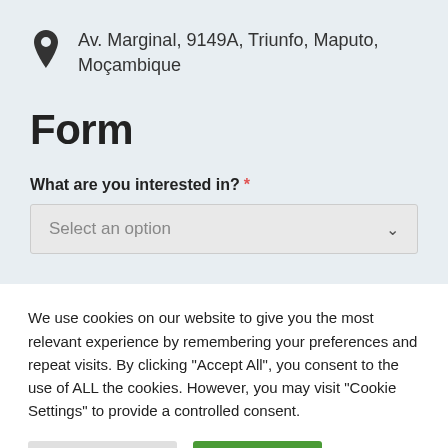Av. Marginal, 9149A, Triunfo, Maputo, Moçambique
Form
What are you interested in? *
Select an option
We use cookies on our website to give you the most relevant experience by remembering your preferences and repeat visits. By clicking "Accept All", you consent to the use of ALL the cookies. However, you may visit "Cookie Settings" to provide a controlled consent.
Cookie Settings
Accept All